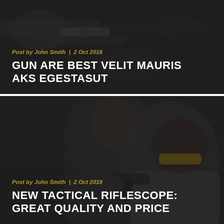[Figure (photo): Dark-toned photo of a gun/rifle with scope, overlaid with semi-transparent dark overlay. Blog post card with text overlay at bottom.]
Post by John Smith  |  2 Oct 2018
GUN ARE BEST VELIT MAURIS AKS EGESTASUT
[Figure (photo): Dark-toned photo of two people at a shooting range — a man and a woman wearing yellow-tinted safety glasses and ear muffs, holding a handgun. Semi-transparent dark overlay. Blog post card with text overlay at bottom.]
Post by John Smith  |  2 Oct 2018
NEW TACTICAL RIFLESCOPE: GREAT QUALITY AND PRICE